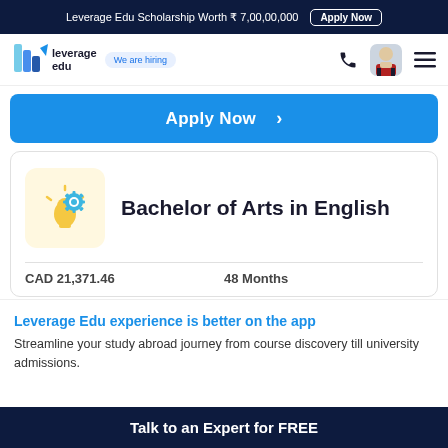Leverage Edu Scholarship Worth ₹ 7,00,00,000   Apply Now
[Figure (logo): Leverage Edu logo with stylized book/rocket icon, 'leverage edu' text and 'We are hiring' badge]
Apply Now >
Bachelor of Arts in English
CAD 21,371.46
48 Months
Leverage Edu experience is better on the app
Streamline your study abroad journey from course discovery till university admissions.
Talk to an Expert for FREE